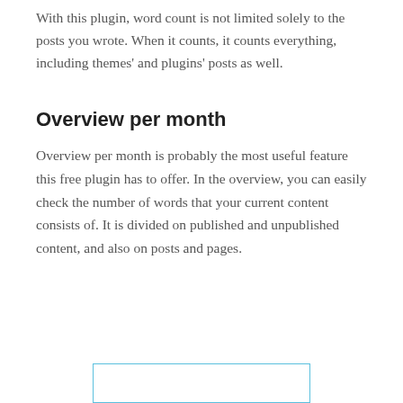With this plugin, word count is not limited solely to the posts you wrote. When it counts, it counts everything, including themes' and plugins' posts as well.
Overview per month
Overview per month is probably the most useful feature this free plugin has to offer. In the overview, you can easily check the number of words that your current content consists of. It is divided on published and unpublished content, and also on posts and pages.
[Figure (screenshot): A bordered box with a light blue outline, partially visible at the bottom of the page.]